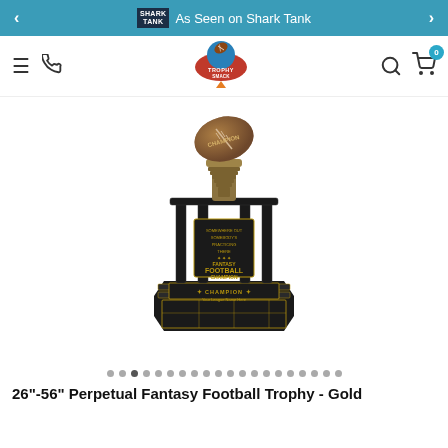As Seen on Shark Tank
[Figure (logo): Trophy Smack logo with football and rocket]
[Figure (photo): 26"-56" Perpetual Fantasy Football Trophy in gold/black color with a large football on top and multiple columns, engraved plate in the middle and winner name plates on the base]
Dot navigation indicators (carousel dots, ~20 dots)
26"-56" Perpetual Fantasy Football Trophy - Gold